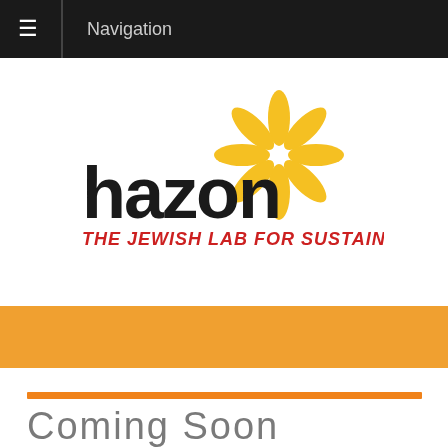Navigation
[Figure (logo): Hazon logo — bold black 'hazon' text with golden flower/sunflower graphic above and to the right, red italic tagline 'THE JEWISH LAB FOR SUSTAINABILITY' below]
Coming Soon